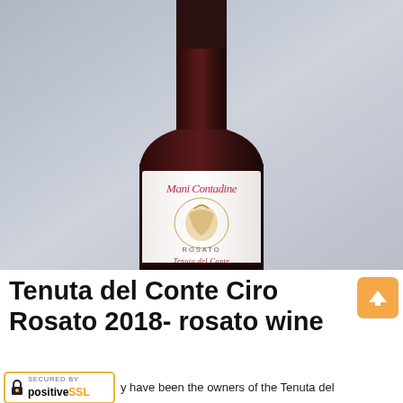[Figure (photo): A wine bottle with a white label showing 'Maui Contadine Rosato Tenuta del Conte' branding against a light grey background. The bottle has a dark neck and body.]
Tenuta del Conte Ciro Rosato 2018- rosato wine
y have been the owners of the Tenuta del